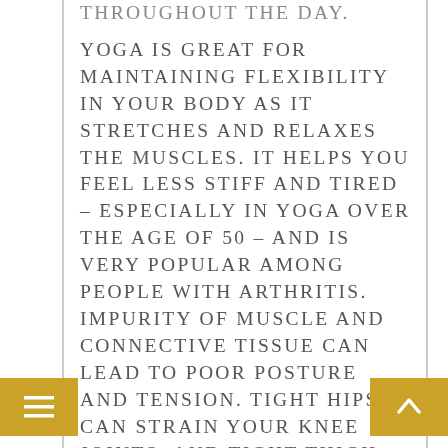THROUGHOUT THE DAY. Yoga is great for maintaining flexibility in your body as it stretches and relaxes the muscles. It helps you feel less stiff and tired – especially in yoga over the age of 50 – and is very popular among people with arthritis. Impurity of muscle and connective tissue can lead to poor posture and tension. Tight hips can strain your knee joints, and tight thigh muscles can cause pain. Regular yoga puts...